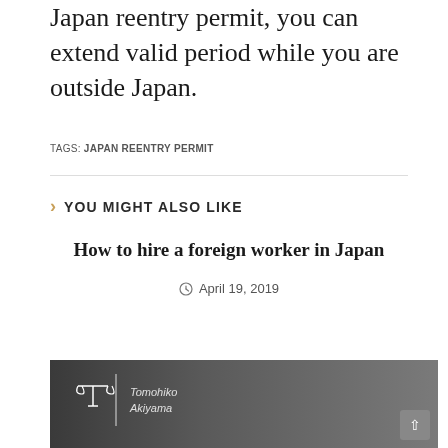Japan reentry permit, you can extend valid period while you are outside Japan.
TAGS: JAPAN REENTRY PERMIT
YOU MIGHT ALSO LIKE
How to hire a foreign worker in Japan
April 19, 2019
[Figure (photo): Dark photo with legal scales icon, vertical bar, and author name 'Tomohiko Akiyama' overlaid on a gray background, with a scroll-to-top button in the bottom right corner.]